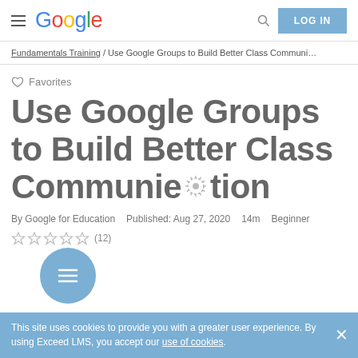Google | LOG IN
Fundamentals Training / Use Google Groups to Build Better Class Communi…
♡ Favorites
Use Google Groups to Build Better Class Communication
By Google for Education   Published: Aug 27, 2020   14m   Beginner
☆ ☆ ☆ ☆ ☆ (12)
[Figure (other): Blue circular floating action button with list/menu lines icon]
This site uses cookies to provide you with a greater user experience. By using Exceed LMS, you accept our use of cookies.